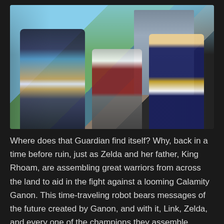[Figure (screenshot): Screenshot from a video game (Hyrule Warriors: Age of Calamity) showing three characters: Link in blue armor on the left, a white-haired warrior crouching in the center, and Princess Zelda in blue and gold on the right, with a large stone castle/building in the background and blue sky.]
Where does that Guardian find itself? Why, back in a time before ruin, just as Zelda and her father, King Rhoam, are assembling great warriors from across the land to aid in the fight against a looming Calamity Ganon. This time-traveling robot bears messages of the future created by Ganon, and with it, Link, Zelda, and every one of the champions they assemble become aware of a future they must fight to prevent.